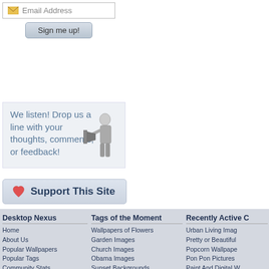[Figure (screenshot): Email address input field with envelope icon]
[Figure (screenshot): Sign me up! button]
We listen! Drop us a line with your thoughts, comments, or feedback!
[Figure (illustration): Black and white image of a man with a megaphone/bullhorn]
[Figure (screenshot): Support This Site button with heart icon]
Desktop Nexus
Home
About Us
Popular Wallpapers
Popular Tags
Community Stats
Member List
Contact Us
Tags of the Moment
Wallpapers of Flowers
Garden Images
Church Images
Obama Images
Sunset Backgrounds
Thanksgiving Wallpapers
Christmas Wallpapers
Recently Active C
Urban Living Imag
Pretty or Beautiful
Popcorn Wallpape
Pon Pon Pictures
Paint And Digital W
Classic Movies 19
Pictures of Abstra
Privacy Policy | Terms of Service | Partnerships | DMCA Copyright Violation
© Desktop Nexus - All rights reserved.
Page rendered with 7 queries (and 0 cached) in 0.078 seconds from server 134.